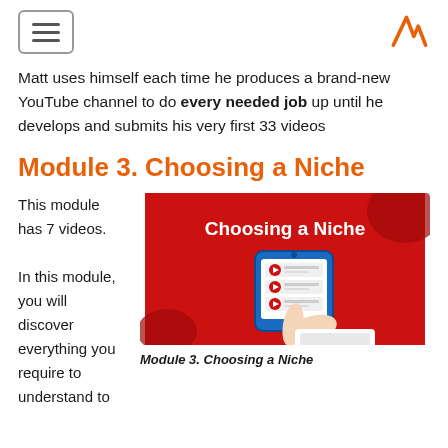[hamburger menu] [logo A]
Matt uses himself each time he produces a brand-new YouTube channel to do every needed job up until he develops and submits his very first 33 videos
Module 3. Choosing a Niche
This module has 7 videos.

In this module, you will discover everything you require to understand to
[Figure (illustration): Red background promotional image showing 'Choosing a Niche' text in white bold font, with a hand holding a smartphone displaying a video playlist interface with red play buttons]
Module 3. Choosing a Niche